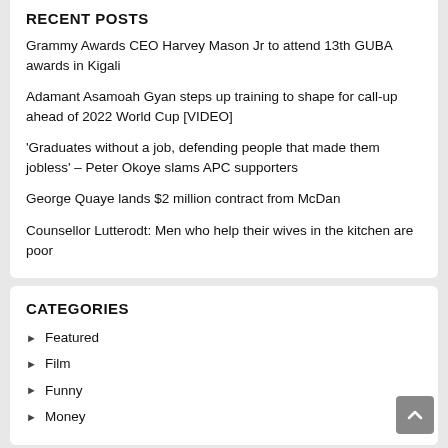RECENT POSTS
Grammy Awards CEO Harvey Mason Jr to attend 13th GUBA awards in Kigali
Adamant Asamoah Gyan steps up training to shape for call-up ahead of 2022 World Cup [VIDEO]
'Graduates without a job, defending people that made them jobless' – Peter Okoye slams APC supporters
George Quaye lands $2 million contract from McDan
Counsellor Lutterodt: Men who help their wives in the kitchen are poor
CATEGORIES
Featured
Film
Funny
Money